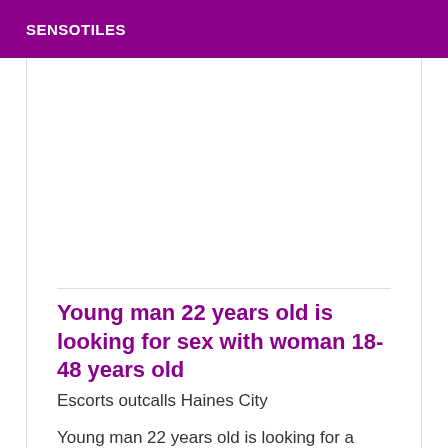SENSOTILES
Young man 22 years old is looking for sex with woman 18-48 years old
Escorts outcalls Haines City
Young man 22 years old is looking for a woman for a booty call. Dominated or dominant at your choice. Everything is free c just for fun. You can contact me